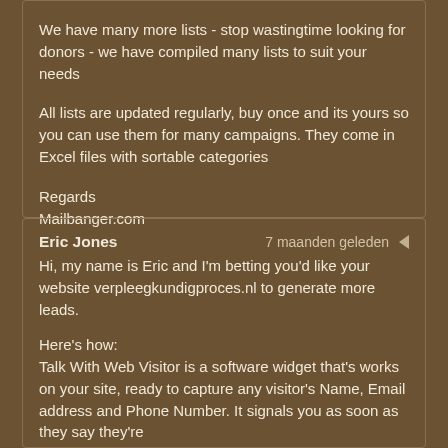We have many more lists - stop wastingtime looking for donors - we have compiled many lists to suit your needs
All lists are updated regularly, buy once and its yours so you can use them for many campaigns. They come in Excel files with sortable categories
Regards
Mailbanger.com
Eric Jones   7 maanden geleden
Hi, my name is Eric and I'm betting you'd like your website verpleegkundigproces.nl to generate more leads.
Here's how:
Talk With Web Visitor is a software widget that's works on your site, ready to capture any visitor's Name, Email address and Phone Number. It signals you as soon as they say they're